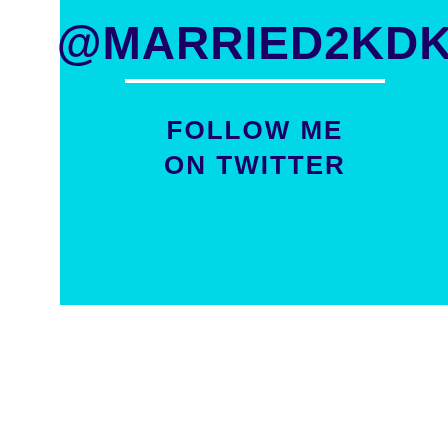@MARRIED2KDK
FOLLOW ME ON TWITTER
Click to follow!
[Figure (illustration): Thumbnail preview image showing decorative nails/manicure illustration on white background, with arrow decorations above it, set on a purple background.]